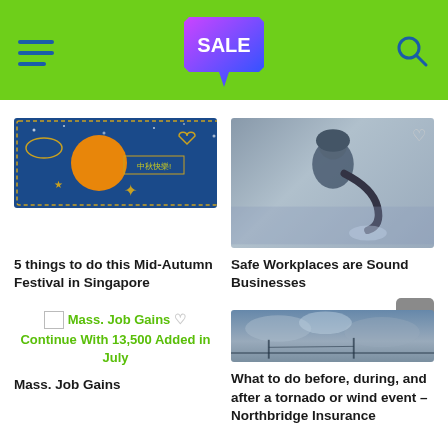SALE
[Figure (illustration): Mid-Autumn Festival graphic with moon, clouds and Chinese text on blue background]
5 things to do this Mid-Autumn Festival in Singapore
[Figure (photo): Worker in protective gear and helmet using equipment, blue-grey tones]
Safe Workplaces are Sound Businesses
[Figure (illustration): Broken image placeholder for Mass. Job Gains article]
Mass. Job Gains Continue With 13,500 Added in July
Mass. Job Gains
[Figure (photo): Stormy sky with power line silhouette]
What to do before, during, and after a tornado or wind event – Northbridge Insurance